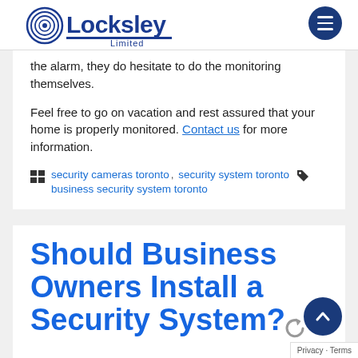Locksley Limited
the alarm, they do hesitate to do the monitoring themselves.
Feel free to go on vacation and rest assured that your home is properly monitored. Contact us for more information.
security cameras toronto, security system toronto business security system toronto
Should Business Owners Install a Security System?